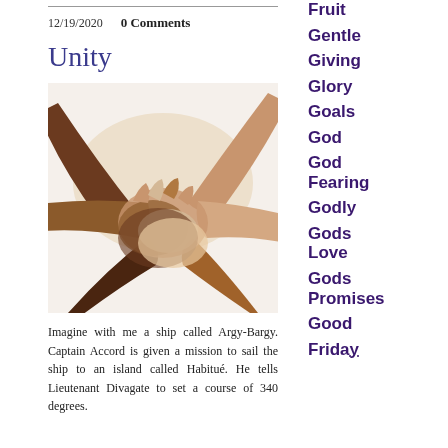12/19/2020   0 Comments
Unity
[Figure (photo): Multiple hands of different skin tones stacked together in a unity gesture against a white background]
Imagine with me a ship called Argy-Bargy. Captain Accord is given a mission to sail the ship to an island called Habitué. He tells Lieutenant Divagate to set a course of 340 degrees.
Fruit
Gentle
Giving
Glory
Goals
God
God Fearing
Godly
Gods Love
Gods Promises
Good
Friday